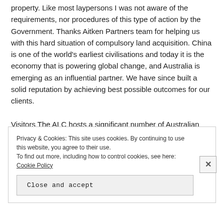property. Like most laypersons I was not aware of the requirements, nor procedures of this type of action by the Government. Thanks Aitken Partners team for helping us with this hard situation of compulsory land acquisition. China is one of the world's earliest civilisations and today it is the economy that is powering global change, and Australia is emerging as an influential partner. We have since built a solid reputation by achieving best possible outcomes for our clients.
Visitors The ALC hosts a significant number of Australian and international visitors each year. Dear Dave, Just a follow up thanks for your professional service & presentation yesterday – very happy with the outcome and the
Privacy & Cookies: This site uses cookies. By continuing to use this website, you agree to their use.
To find out more, including how to control cookies, see here: Cookie Policy
Close and accept